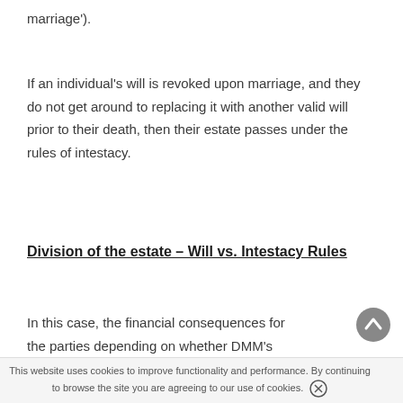marriage').
If an individual's will is revoked upon marriage, and they do not get around to replacing it with another valid will prior to their death, then their estate passes under the rules of intestacy.
Division of the estate – Will vs. Intestacy Rules
In this case, the financial consequences for the parties depending on whether DMM's...
This website uses cookies to improve functionality and performance. By continuing to browse the site you are agreeing to our use of cookies.